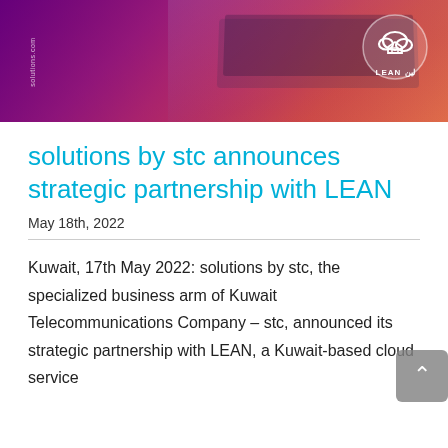[Figure (photo): Hero banner image showing a laptop on a purple-to-red gradient background with LEAN logo in top right and vertical text on left side]
solutions by stc announces strategic partnership with LEAN
May 18th, 2022
Kuwait, 17th May 2022: solutions by stc, the specialized business arm of Kuwait Telecommunications Company – stc, announced its strategic partnership with LEAN, a Kuwait-based cloud service